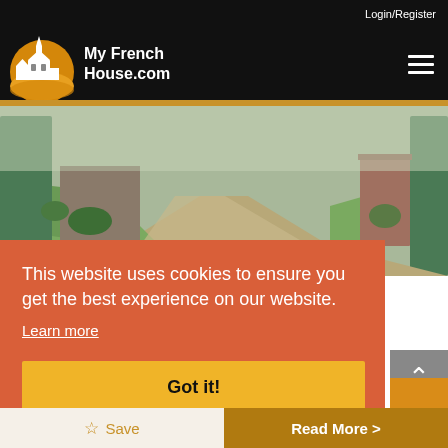Login/Register
[Figure (logo): My French House.com logo with illustrated French church building on orange/yellow circular background]
[Figure (photo): Photo of a French farmhouse driveway with open green gates, gravel path, green lawns, and stone buildings]
Ref: MFH-NOR1002
This website uses cookies to ensure you get the best experience on our website.
Learn more
Got it!
☆ Save
Read More >